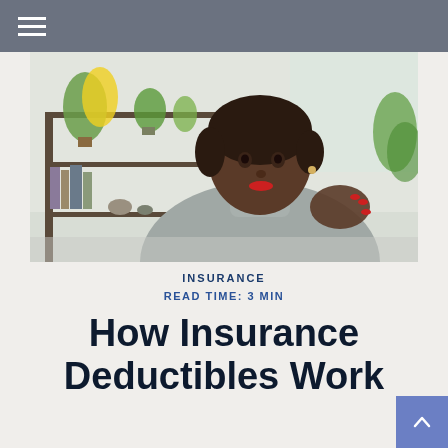≡ (hamburger menu icon)
[Figure (photo): A Black woman wearing a grey turtleneck sweater, gesturing with her hand while speaking, seated in a bright room with plants and shelving in the background]
INSURANCE
READ TIME: 3 MIN
How Insurance Deductibles Work